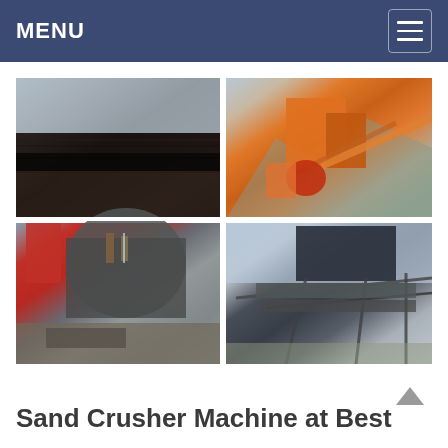MENU
[Figure (photo): Four-panel image grid showing industrial sand crushing and mining machinery: top-left shows dark heavy equipment/conveyor, top-right shows orange jaw crusher and conveyor system in mountainous setting, bottom-left shows close-up of sand washing machine with pipes and water, bottom-right shows large vibrating screen/screening plant equipment outdoors.]
Sand Crusher Machine at Best